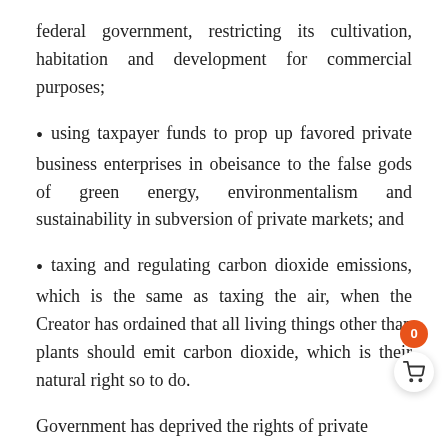federal government, restricting its cultivation, habitation and development for commercial purposes;
using taxpayer funds to prop up favored private business enterprises in obeisance to the false gods of green energy, environmentalism and sustainability in subversion of private markets; and
taxing and regulating carbon dioxide emissions, which is the same as taxing the air, when the Creator has ordained that all living things other than plants should emit carbon dioxide, which is their natural right so to do.
Government has deprived the rights of private